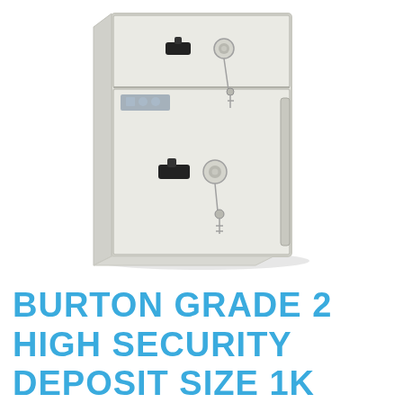[Figure (photo): A white Burton Grade 2 high security deposit safe, front view, showing two sections: a top deposit drawer with a black dial lock and a key lock, and a lower main door with a black lever handle and a key lock. The safe is light grey/off-white in color with a label/badge on the front panel.]
BURTON GRADE 2 HIGH SECURITY DEPOSIT SIZE 1K